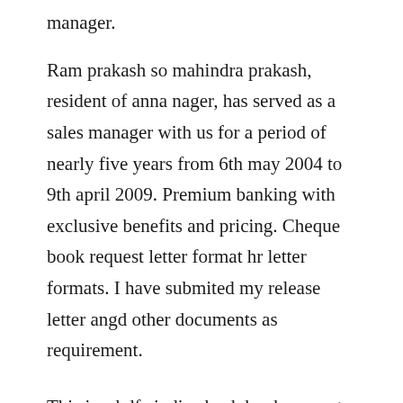manager.
Ram prakash so mahindra prakash, resident of anna nager, has served as a sales manager with us for a period of nearly five years from 6th may 2004 to 9th april 2009. Premium banking with exclusive benefits and pricing. Cheque book request letter format hr letter formats. I have submited my release letter angd other documents as requirement.
This is a hdfc india check book request form, it is used to request for a new check book when your old one is over. I would like to